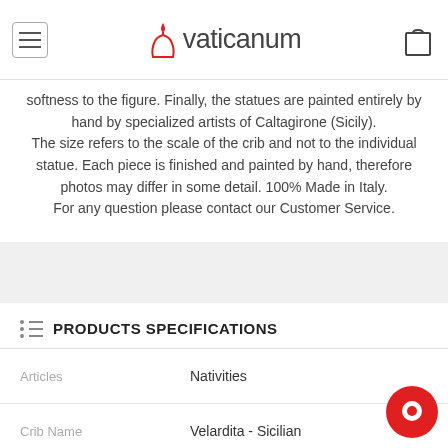vaticanum
softness to the figure. Finally, the statues are painted entirely by hand by specialized artists of Caltagirone (Sicily). The size refers to the scale of the crib and not to the individual statue. Each piece is finished and painted by hand, therefore photos may differ in some detail. 100% Made in Italy. For any question please contact our Customer Service.
PRODUCTS SPECIFICATIONS
|  |  |
| --- | --- |
| Articles | Nativities |
| Crib Name | Velardita - Sicilian |
| Figurines | Wise Kings |